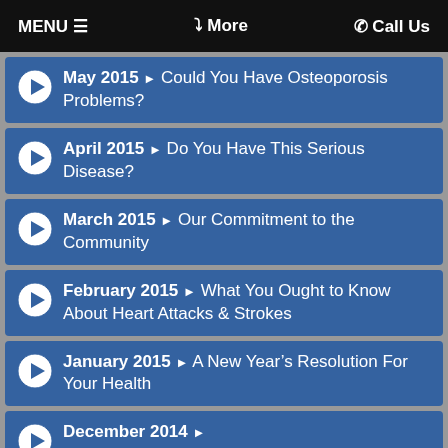MENU ≡   ❯ More   ☎ Call Us
May 2015 ▶ Could You Have Osteoporosis Problems?
April 2015 ▶ Do You Have This Serious Disease?
March 2015 ▶ Our Commitment to the Community
February 2015 ▶ What You Ought to Know About Heart Attacks & Strokes
January 2015 ▶ A New Year's Resolution For Your Health
December 2014 ▶ ...